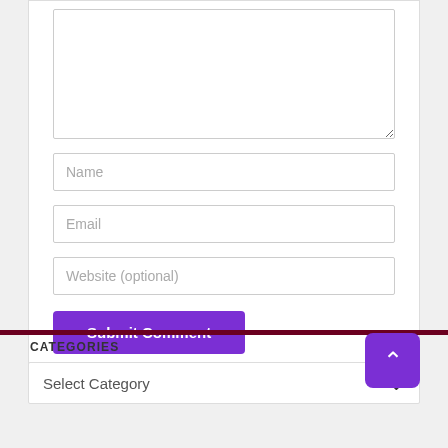[Figure (screenshot): Comment form with textarea, Name, Email, Website (optional) input fields, and a purple Submit Comment button]
CATEGORIES
[Figure (screenshot): Select Category dropdown and a purple back-to-top arrow button]